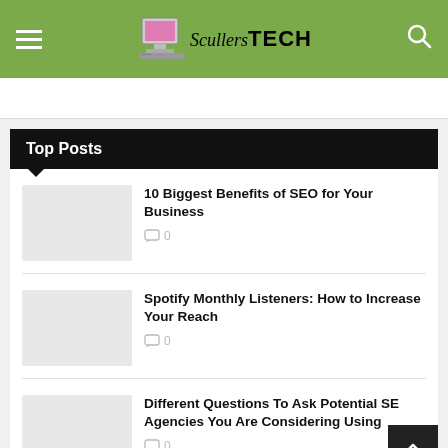ScullersTECH
Top Posts
10 Biggest Benefits of SEO for Your Business
0
Spotify Monthly Listeners: How to Increase Your Reach
0
Different Questions To Ask Potential SEO Agencies You Are Considering Using
0